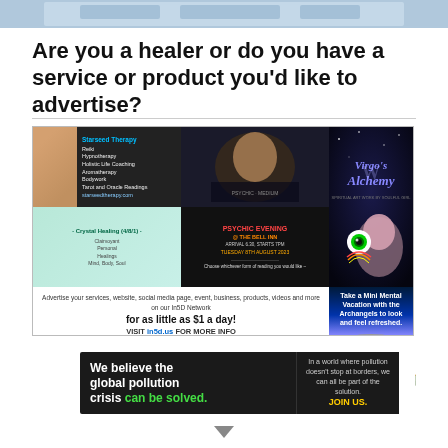[Figure (photo): Partial banner image at top of page, cropped]
Are you a healer or do you have a service or product you'd like to advertise?
[Figure (infographic): Collage of advertiser tiles for In5D Network including Starseed Therapy, Virgo's Alchemy, Crystal Healing, Psychic Evening @ The Bell Inn, Archangelology, and In5D Vendor Marketplace ad text stating 'Advertise your services, website, social media page, event, business, products, videos and more on our In5D Network for as little as $1 a day! VISIT in5d.us FOR MORE INFO In5D Vendor Marketplace']
[Figure (infographic): Pure Earth advertisement banner: 'We believe the global pollution crisis can be solved. In a world where pollution doesn't stop at borders, we can all be part of the solution. JOIN US.' with Pure Earth logo]